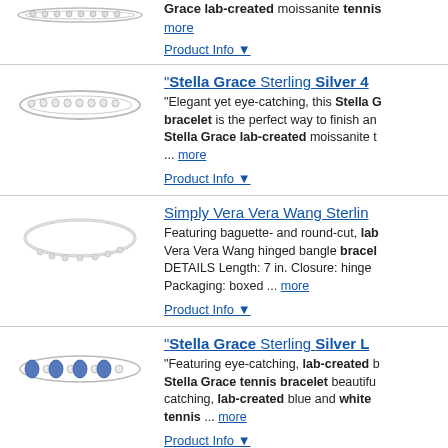[Figure (photo): Partial view of a silver tennis bracelet at top of page]
Grace lab-created moissanite tennis ... more
Product Info ▼
[Figure (photo): Silver tennis bracelet product image]
"Stella Grace Sterling Silver 4...
"Elegant yet eye-catching, this Stella G bracelet is the perfect way to finish an Stella Grace lab-created moissanite t ... more
Product Info ▼
[Figure (photo): Silver bangle bracelet product image]
Simply Vera Vera Wang Sterlin...
Featuring baguette- and round-cut, lab Vera Vera Wang hinged bangle bracel DETAILS Length: 7 in. Closure: hinge Packaging: boxed ... more
Product Info ▼
[Figure (photo): Silver tennis bracelet with blue stones product image]
"Stella Grace Sterling Silver L...
"Featuring eye-catching, lab-created b Stella Grace tennis bracelet beautifu catching, lab-created blue and white tennis ... more
Product Info ▼
[Figure (photo): Silver bracelet partial view at bottom]
"Stella Grace Sterling Silver L...
"Lined from end to end with shimmerin gemstones, this sterling silver Stella G...